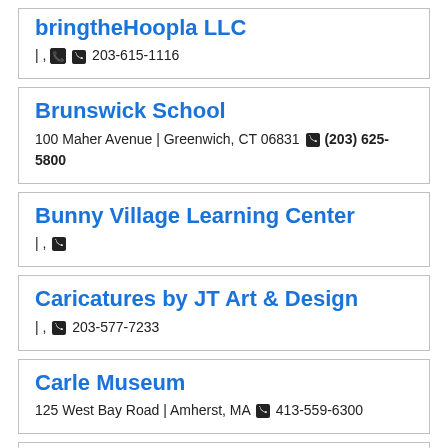bringtheHoopla LLC
| , 203-615-1116
Brunswick School
100 Maher Avenue | Greenwich, CT 06831 (203) 625-5800
Bunny Village Learning Center
| ,
Caricatures by JT Art & Design
| , 203-577-7233
Carle Museum
125 West Bay Road | Amherst, MA 413-559-6300
Carousel Preschool Day...